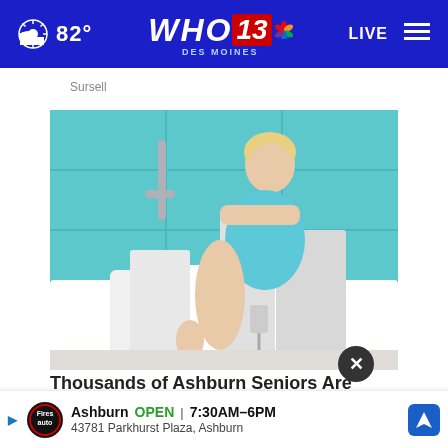82° WHO 13 DES MOINES LIVE
Sursell
[Figure (photo): A smiling woman wrapped in a light blue towel sitting on the edge of a white walk-in bathtub in a bathroom with teal/turquoise tiles and grab bars.]
Thousands of Ashburn Seniors Are Getting Walk-in T...
Ashburn OPEN | 7:30AM–6PM  43781 Parkhurst Plaza, Ashburn
Smart Container space